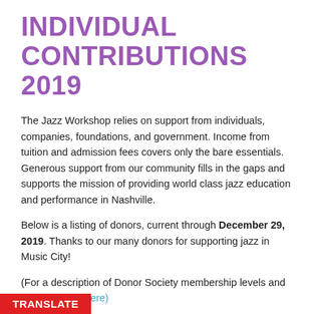INDIVIDUAL CONTRIBUTIONS 2019
The Jazz Workshop relies on support from individuals, companies, foundations, and government. Income from tuition and admission fees covers only the bare essentials. Generous support from our community fills in the gaps and supports the mission of providing world class jazz education and performance in Nashville.
Below is a listing of donors, current through December 29, 2019. Thanks to our many donors for supporting jazz in Music City!
(For a description of Donor Society membership levels and benefits, click here)
VIRTUOSO SOCIETY
TRANSLATE